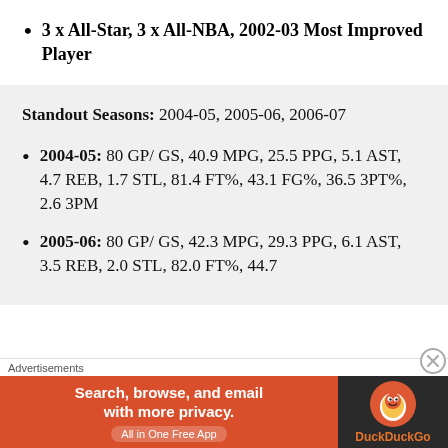3 x All-Star, 3 x All-NBA, 2002-03 Most Improved Player
Standout Seasons: 2004-05, 2005-06, 2006-07
2004-05: 80 GP/ GS, 40.9 MPG, 25.5 PPG, 5.1 AST, 4.7 REB, 1.7 STL, 81.4 FT%, 43.1 FG%, 36.5 3PT%, 2.6 3PM
2005-06: 80 GP/ GS, 42.3 MPG, 29.3 PPG, 6.1 AST, 3.5 REB, 2.0 STL, 82.0 FT%, 44.7
Advertisements